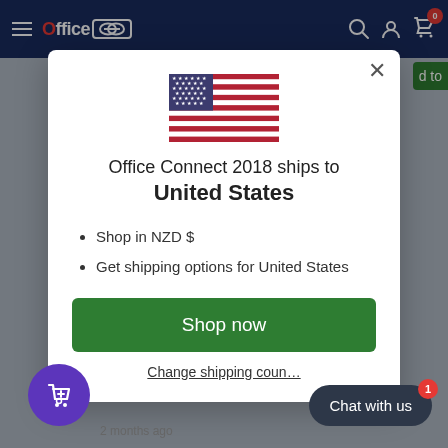[Figure (screenshot): Website navigation bar with Office Connect 2018 logo on dark blue background, icons for search, user, and cart with badge showing 0]
[Figure (screenshot): Modal popup over website showing US flag, shipping destination info, bullet list, Shop now button, and Change shipping country link]
Office Connect 2018 ships to United States
Shop in NZD $
Get shipping options for United States
Shop now
Change shipping coun...
Chat with us
2 months ago